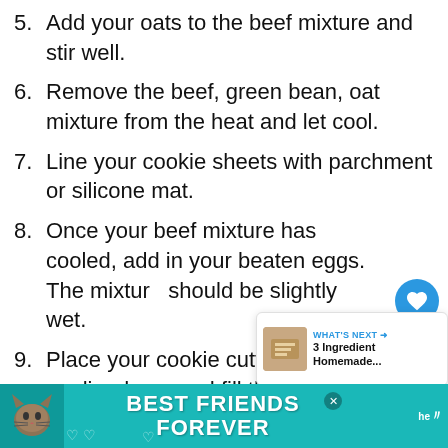5. Add your oats to the beef mixture and stir well.
6. Remove the beef, green bean, oat mixture from the heat and let cool.
7. Line your cookie sheets with parchment or silicone mat.
8. Once your beef mixture has cooled, add in your beaten eggs. The mixture should be slightly wet.
9. Place your cookie cutters onto the lined pan and fill the half full with your